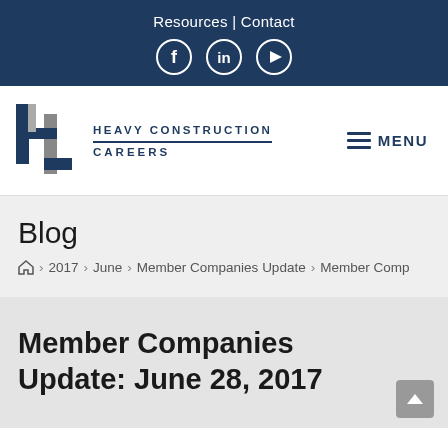Resources | Contact
[Figure (logo): Heavy Construction Careers logo with H icon and text]
≡ MENU
Blog
🏠 > 2017 > June > Member Companies Update > Member Comp
Member Companies Update: June 28, 2017